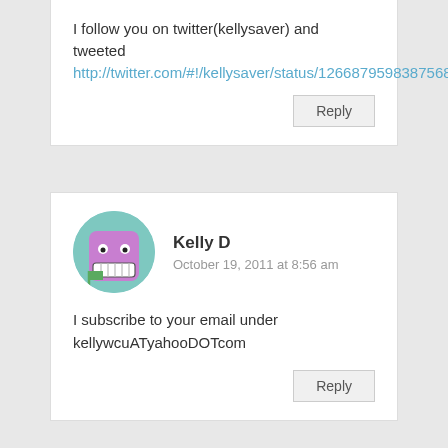I follow you on twitter(kellysaver) and tweeted http://twitter.com/#!/kellysaver/status/126687959838756864
Reply
[Figure (illustration): Avatar of Kelly D: teal circular background with a purple cartoon face character showing eyes and teeth]
Kelly D
October 19, 2011 at 8:56 am
I subscribe to your email under kellywcuATyahooDOTcom
Reply